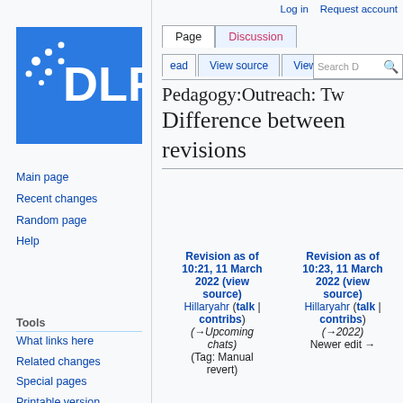Log in  Request account
[Figure (logo): DLF (Digital Library Federation) blue logo with white dots and DLF text]
Main page
Recent changes
Random page
Help
Tools
What links here
Related changes
Special pages
Printable version
Permanent link
Page information
Cite this page
Pedagogy:Outreach:Tw
Difference between revisions
| Revision as of 10:21, 11 March 2022 (view source) | Revision as of 10:23, 11 March 2022 (view source) |
| --- | --- |
| Hillaryahr (talk | contribs)
(→Upcoming chats)
(Tag: Manual revert) | Hillaryahr (talk | contribs)
(→2022)
Newer edit → |